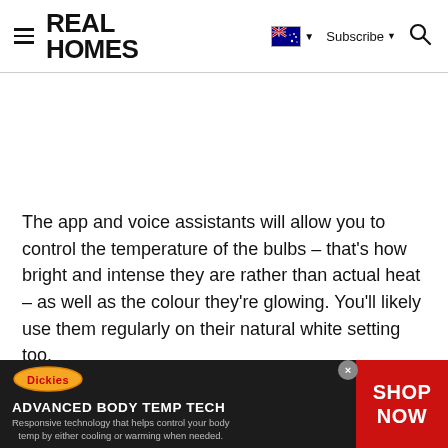REAL HOMES — Subscribe — Search
The app and voice assistants will allow you to control the temperature of the bulbs – that's how bright and intense they are rather than actual heat – as well as the colour they're glowing. You'll likely use them regularly on their natural white setting too.
[Figure (infographic): Dickies advertisement banner: ADVANCED BODY TEMP TECH — Responsive technology that helps control your body temp by either cooling or warming when needed. SHOP NOW button on red background.]